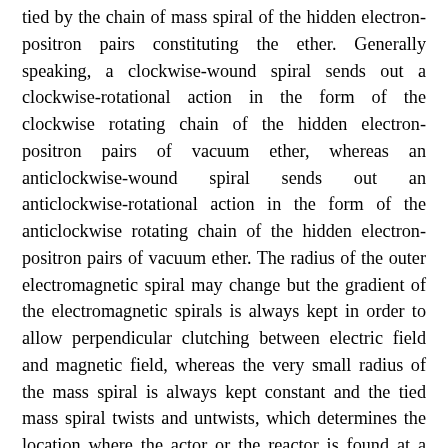tied by the chain of mass spiral of the hidden electron-positron pairs constituting the ether. Generally speaking, a clockwise-wound spiral sends out a clockwise-rotational action in the form of the clockwise rotating chain of the hidden electron-positron pairs of vacuum ether, whereas an anticlockwise-wound spiral sends out an anticlockwise-rotational action in the form of the anticlockwise rotating chain of the hidden electron-positron pairs of vacuum ether. The radius of the outer electromagnetic spiral may change but the gradient of the electromagnetic spirals is always kept in order to allow perpendicular clutching between electric field and magnetic field, whereas the very small radius of the mass spiral is always kept constant and the tied mass spiral twists and untwists, which determines the location where the actor or the reactor is found at a certain moment of time. This modeling of electromagnetic and mass spirals is in conformity with the presence of the variables of both force and velocity in . When we interpret the force and the velocity as the rotational force and the rotational velocity of the acting/reacting spirals, the equation is demonstrated to be precisely correct even for the remote action/reaction via gravitational, electric, and magnetic field, whereas in the case of remote action/reaction, is demonstrated to be right in the longitudinal direction. The reason why the constituents of vacuum ether are electrons and positrons is based on the experimentally observed fact that a real electron and a real positron are born out of the vacuum ether, when a light beam